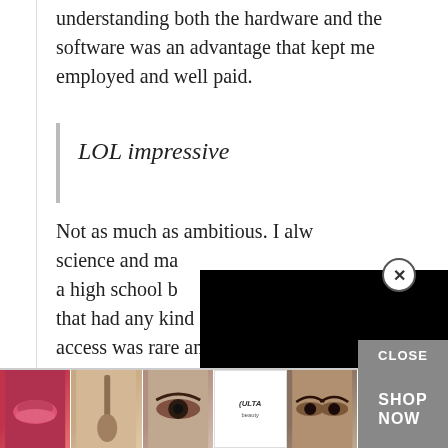understanding both the hardware and the software was an advantage that kept me employed and well paid.
LOL impressive
Not as much as ambitious. I alw science and ma a high school b that had any kind of computer access was rare and a lucky thing that got me started on...
[Figure (screenshot): Black overlay rectangle covering part of the page content, with a close (X) button in a circle at top right, a CLOSE bar button, and an Ulta beauty advertisement banner at the bottom with makeup images and SHOP NOW button.]